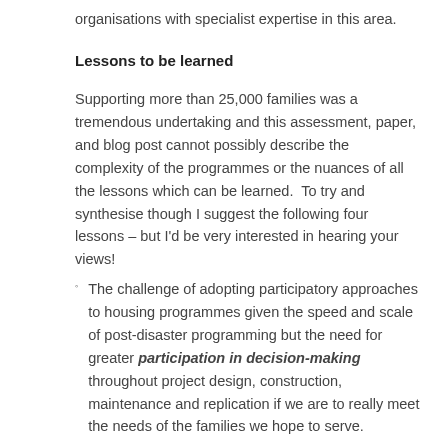organisations with specialist expertise in this area.
Lessons to be learned
Supporting more than 25,000 families was a tremendous undertaking and this assessment, paper, and blog post cannot possibly describe the complexity of the programmes or the nuances of all the lessons which can be learned.  To try and synthesise though I suggest the following four lessons – but I'd be very interested in hearing your views!
The challenge of adopting participatory approaches to housing programmes given the speed and scale of post-disaster programming but the need for greater participation in decision-making throughout project design, construction, maintenance and replication if we are to really meet the needs of the families we hope to serve.